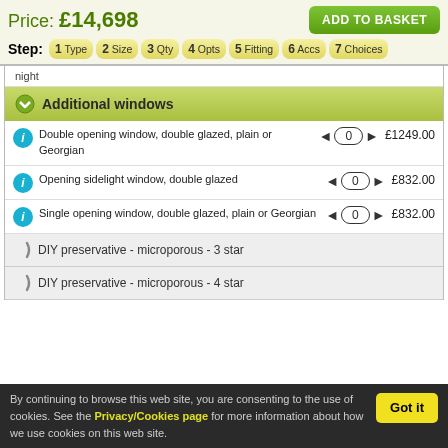Price: £14,698
ADD TO BASKET
Step: 1 Type 2 Size 3 Qty 4 Opts 5 Fitting 6 Accs 7 Choices
night
Additional windows
Double opening window, double glazed, plain or Georgian £1249.00
Opening sidelight window, double glazed £832.00
Single opening window, double glazed, plain or Georgian £832.00
DIY preservative - microporous - 3 star
DIY preservative - microporous - 4 star
By continuing to browse this web site, you are consenting to the use of cookies. See the Privacy/Cookies page for more information about how we use cookies on this web site.